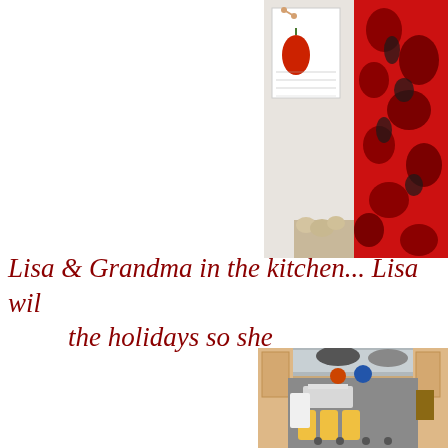[Figure (photo): Partial kitchen scene with a red floral curtain/fabric and a wall calendar with a red pepper illustration, cropped at the top of the page.]
Lisa & Grandma in the kitchen... Lisa wil the holidays so she
[Figure (photo): Kitchen counter scene with stove, range hood, holiday decorations, coffee maker, baking pans with food items covered in foil, corn on the cob, and kitchen utensils. Christmas ornaments hang in the background.]